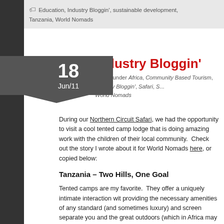Education, Industry Bloggin', sustainable development, Tanzania, World Nomads
Industry Bloggin'
by Ted under Africa, Community Based Tourism, Industry Bloggin', Safari, World Nomads
During our Northern Circuit Safari, we had the opportunity to visit a cool tented camp lodge that is doing amazing work with the children of their local community. Check out the story I wrote about it for World Nomads here, or copied below:
Tanzania – Two Hills, One Goal
Tented camps are my favorite. They offer a uniquely intimate interaction with providing the necessary amenities of any standard (and sometimes luxury) and screen separate you and the great outdoors (which in Africa may mean I've had the opportunity to visit nearly a dozen such camps during my travel seen some pretty impressive eco-initiatives associated with these properties more than my final tented camp experience, the first to use a community de for their tented lodge.
Rhotia Valley is a property perched atop two adjacent hills, overlooking the Tanzania's famed Northern Safari Circuit. On one hill sits the Rhotia Valley and school for local children in need. Due to a very high rate of HIV/AIDS i orphans, and along with issues such as malnourishment and family break